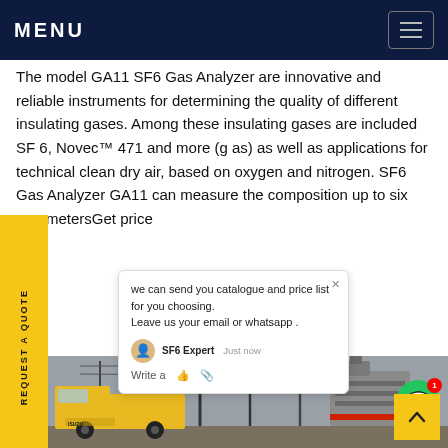MENU
The model GA11 SF6 Gas Analyzer are innovative and reliable instruments for determining the quality of different insulating gases. Among these insulating gases are included SF 6, Novec™ 471 and more (g as) as well as applications for technical clean dry air, based on oxygen and nitrogen. SF6 Gas Analyzer GA11 can measure the composition up to six parametersGet price
[Figure (screenshot): Chat popup with message: we can send you catalogue and price list for you choosing. Leave us your email or whatsapp. SF6 Expert avatar shown with 'just now' timestamp. Write a reply area with like and attachment icons.]
[Figure (photo): Photo of industrial electrical substation equipment with a yellow ISUZU truck and large grey electrical switchgear/transformer equipment in background with power lines.]